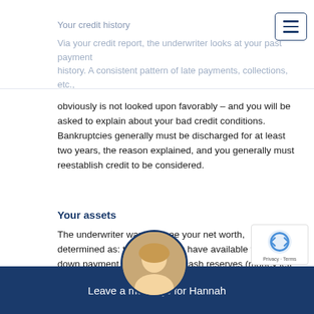Your credit history
Via your credit report, the underwriter looks at your past payment history. A consistent pattern of late payments, collections, etc., obviously is not looked upon favorably – and you will be asked to explain about your bad credit conditions. Bankruptcies generally must be discharged for at least two years, the reason explained, and you generally must reestablish credit to be considered.
Your assets
The underwriter wants to see your net worth, determined as: the money you have available for a down payment, closing costs, cash reserves (money left over after closing of escrow to cover 2-3 months mortgage payments) and other liquid assets. The underwriter also will want to see the "source of funds" - where the money for the down payment and closing costs is coming from. Don't move money around (pay off bills, receive a gift, etc.) with first consulting your loan officer about the best way, since it may af
Leave a message for Hannah